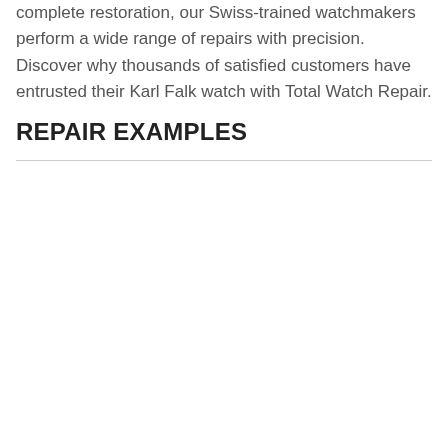complete restoration, our Swiss-trained watchmakers perform a wide range of repairs with precision. Discover why thousands of satisfied customers have entrusted their Karl Falk watch with Total Watch Repair.
REPAIR EXAMPLES
[Figure (other): Carousel navigation area with left and right arrow controls on either side of an empty image display area]